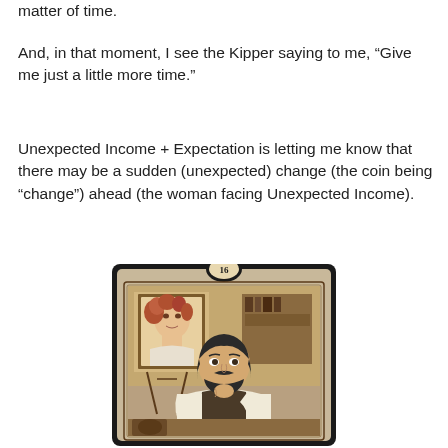matter of time.
And, in that moment, I see the Kipper saying to me, “Give me just a little more time.”
Unexpected Income + Expectation is letting me know that there may be a sudden (unexpected) change (the coin being “change”) ahead (the woman facing Unexpected Income).
[Figure (illustration): Kipper card number 16 showing a bearded man in Victorian attire resting his chin on his hand, with a portrait painting of a woman with curly red hair on an easel in the background. The card has an ornate dark border with the number 16 in a circle at the top.]